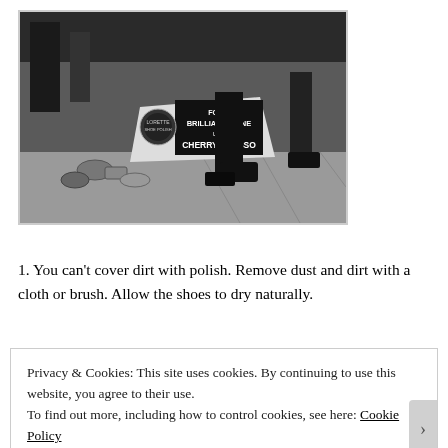[Figure (photo): Black and white photograph of a street shoe-shine scene. A sign reads 'FOR A BRILLIANT SHINE USE CHERRY BLOSSOM'. Various shoe polish tins and brushes are arranged on the ground. A person's legs and shoes are visible.]
1. You can't cover dirt with polish. Remove dust and dirt with a cloth or brush. Allow the shoes to dry naturally.
Privacy & Cookies: This site uses cookies. By continuing to use this website, you agree to their use.
To find out more, including how to control cookies, see here: Cookie Policy